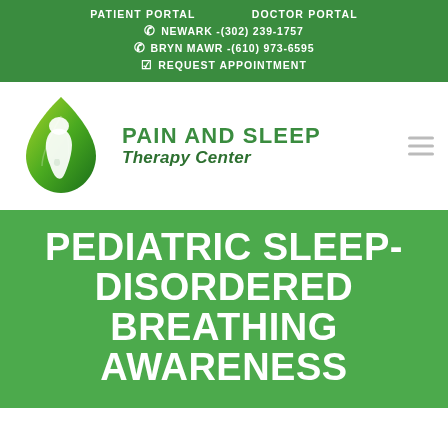PATIENT PORTAL   DOCTOR PORTAL
☏ NEWARK -(302) 239-1757
☏ BRYN MAWR -(610) 973-6595
☑ REQUEST APPOINTMENT
[Figure (logo): Green leaf drop shape with white silhouette of a face — Pain and Sleep Therapy Center logo]
PAIN AND SLEEP Therapy Center
PEDIATRIC SLEEP-DISORDERED BREATHING AWARENESS